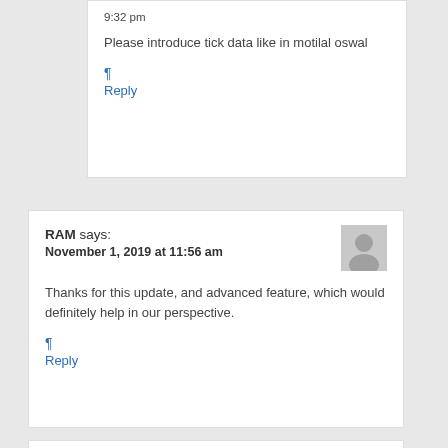9:32 pm
Please introduce tick data like in motilal oswal
¶
Reply
RAM says:
November 1, 2019 at 11:56 am
Thanks for this update, and advanced feature, which would definitely help in our perspective.
¶
Reply